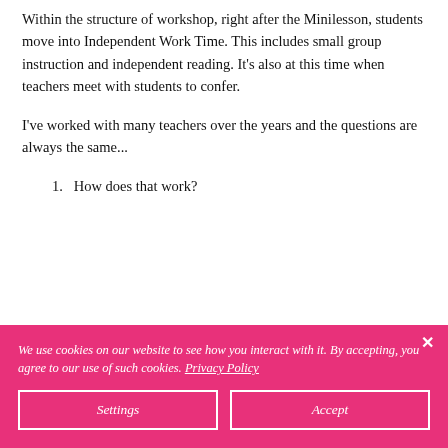Within the structure of workshop, right after the Minilesson, students move into Independent Work Time.  This includes small group instruction and independent reading.  It's also at this time when teachers meet with students to confer.
I've worked with many teachers over the years and the questions are always the same...
1.  How does that work?
We use cookies on our website to see how you interact with it. By accepting, you agree to our use of such cookies. Privacy Policy